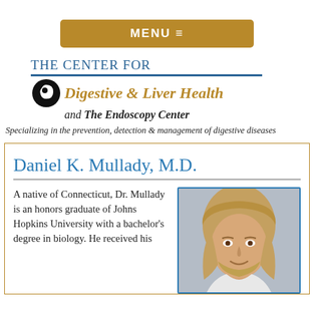MENU ≡
[Figure (logo): The Center for Digestive & Liver Health and The Endoscopy Center logo with circular icon]
Specializing in the prevention, detection & management of digestive diseases
Daniel K. Mullady, M.D.
[Figure (photo): Professional headshot of Dr. Daniel K. Mullady, a man with long hair and a beard, smiling]
A native of Connecticut, Dr. Mullady is an honors graduate of Johns Hopkins University with a bachelor's degree in biology. He received his